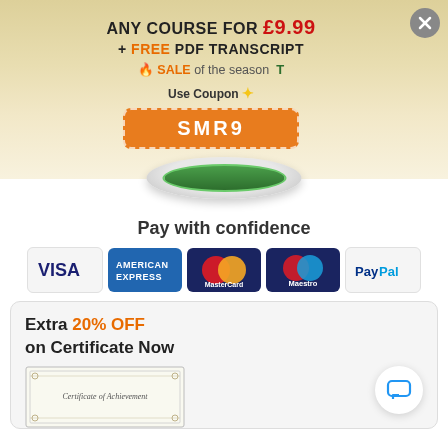ANY COURSE FOR £9.99 + FREE PDF TRANSCRIPT
🔥 SALE of the season T
Use Coupon ⭐
SMR9
Pay with confidence
[Figure (infographic): Payment method icons: VISA, American Express, MasterCard, Maestro, PayPal]
Extra 20% OFF on Certificate Now
[Figure (photo): Certificate of Achievement image]